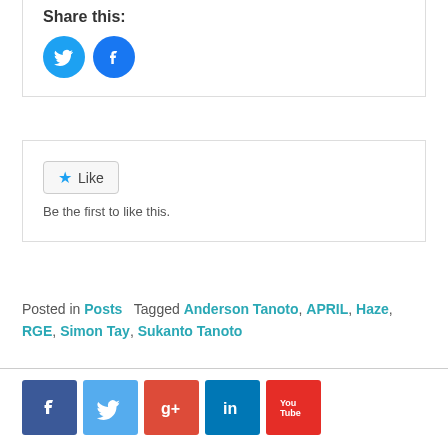Share this:
[Figure (infographic): Two circular social share buttons: Twitter (blue bird icon) and Facebook (blue 'f' icon)]
[Figure (infographic): Like button with star icon and text 'Be the first to like this.']
Posted in Posts   Tagged Anderson Tanoto, APRIL, Haze, RGE, Simon Tay, Sukanto Tanoto
[Figure (infographic): Row of 5 social media icons: Facebook (dark blue), Twitter (light blue), Google+ (red), LinkedIn (dark blue), YouTube (red)]